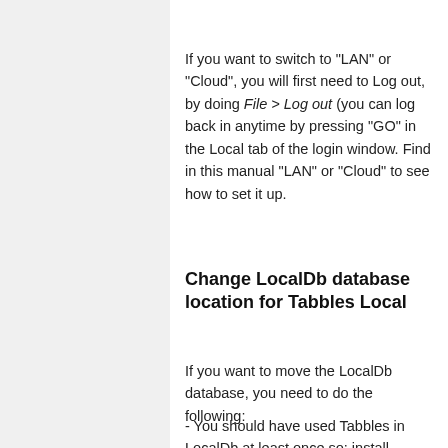If you want to switch to "LAN" or "Cloud", you will first need to Log out, by doing File > Log out (you can log back in anytime by pressing "GO" in the Local tab of the login window. Find in this manual "LAN" or "Cloud" to see how to set it up.
Change LocalDb database location for Tabbles Local
If you want to move the LocalDb database, you need to do the following:
- You should have used Tabbles in LocalDb at least once so: install Tabbles, start it, and press "GO". Tabbles will now create the LocalDb Database in the